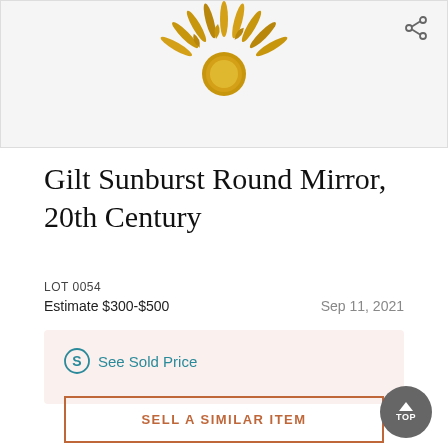[Figure (photo): Partial view of a gilt sunburst round mirror with golden rays and claw-like details against a white background]
Gilt Sunburst Round Mirror, 20th Century
LOT 0054
Estimate $300-$500   Sep 11, 2021
See Sold Price
SELL A SIMILAR ITEM